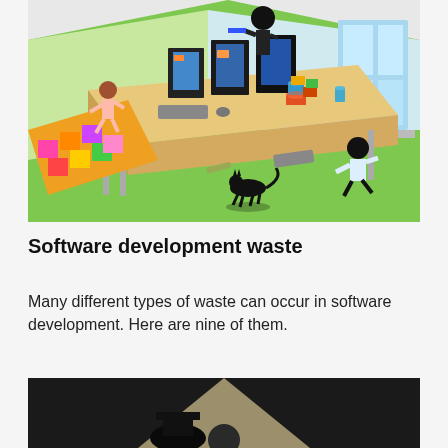[Figure (illustration): Isometric illustration of a chaotic open-plan office with stick figures: one figure in black suit pointing a gun, a child-like figure dancing on a colorful tiled mat, a black cat running, a person in white shirt running, monitors and computers on a long desk, stacked cans, scattered items on a green floor, windows in background.]
Software development waste
Many different types of waste can occur in software development. Here are nine of them.
[Figure (illustration): Dark scene showing a spotlight or triangular beam of light on a dark background with a silhouette of a figure with a hat, partially visible at the bottom of the page.]